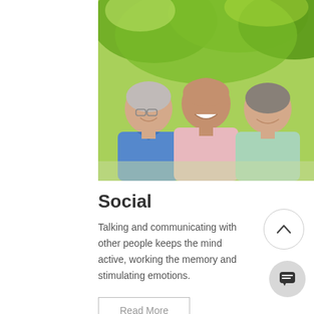[Figure (photo): Three elderly men laughing and smiling together outdoors surrounded by green trees. Left man wears blue shirt, center wears pink shirt, right wears light green shirt.]
Social
Talking and communicating with other people keeps the mind active, working the memory and stimulating emotions.
Read More